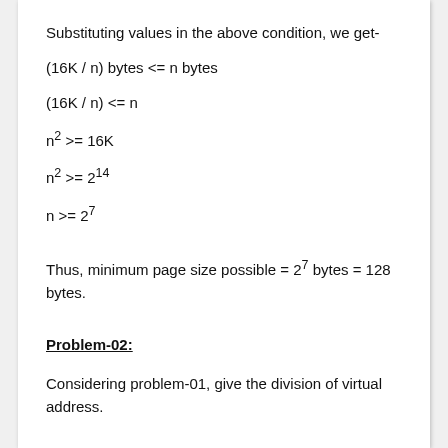Substituting values in the above condition, we get-
Thus, minimum page size possible = 2^7 bytes = 128 bytes.
Problem-02:
Considering problem-01, give the division of virtual address.